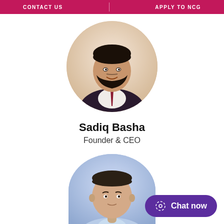CONTACT US | APPLY TO NCG
[Figure (photo): Circular profile photo of Sadiq Basha, a man with dark hair and beard wearing a dark suit with a red tie, set against a warm blurred background]
Sadiq Basha
Founder & CEO
[Figure (photo): Circular profile photo of a man with short dark hair wearing a light blue dress shirt, set against a light purple/blue background]
Chat now